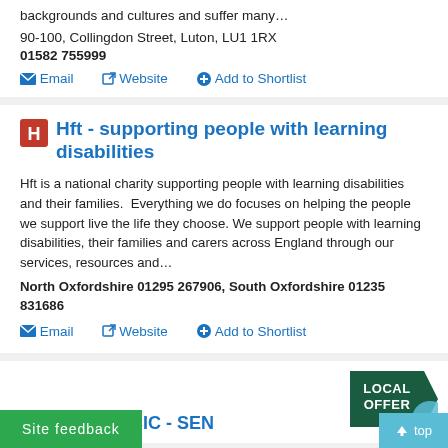backgrounds and cultures and suffer many…
90-100, Collingdon Street, Luton, LU1 1RX
01582 755999
Email | Website | Add to Shortlist
Hft - supporting people with learning disabilities
Hft is a national charity supporting people with learning disabilities and their families.  Everything we do focuses on helping the people we support live the life they choose. We support people with learning disabilities, their families and carers across England through our services, resources and…
North Oxfordshire 01295 267906, South Oxfordshire 01235 831686
Email | Website | Add to Shortlist
[Figure (logo): LOCAL OFFER badge (dark green arrow shape with white text)]
n Care Farm CIC - SEN
Site feedback
top